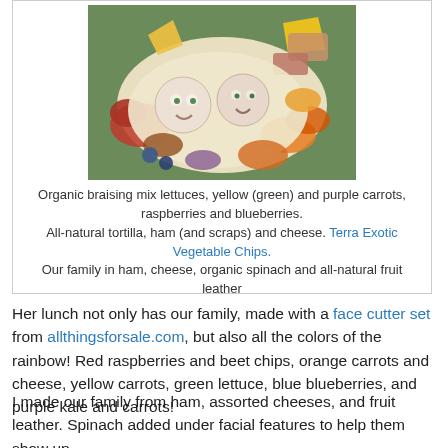[Figure (photo): A colorful pile of food on a green plate including tortilla wraps with face cutouts made from ham and cheese, red raspberries, orange and yellow carrot chips, and various colorful vegetable and fruit items arranged together.]
Organic braising mix lettuces, yellow (green) and purple carrots, raspberries and blueberries.
All-natural tortilla, ham (and scraps) and cheese. Terra Exotic Vegetable Chips.
Our family in ham, cheese, organic spinach and all-natural fruit leather
Her lunch not only has our family, made with a face cutter set from allthingsforsale.com, but also all the colors of the rainbow! Red raspberries and beet chips, orange carrots and cheese, yellow carrots, green lettuce, blue blueberries, and purple kale and carrots!
I made our family from ham, assorted cheeses, and fruit leather. Spinach added under facial features to help them show up.